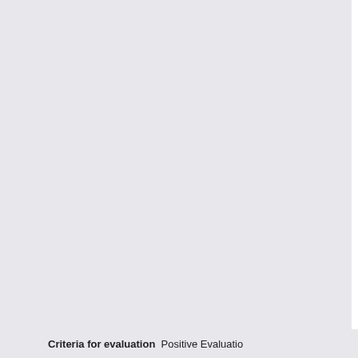amination...
Amines f... enolates...
Chemistry of Am...
Mannich...
1,2-rearra... and Curti...
Synthesis...
Preparati...
Using ary...
Diels-Alder and ...
Introducti...
Molecula...
Diels–Ald...
Synthesis...
Pericyclic React...
Other cyc... cycloadd...
Electrocy... (thermal ...
Sigmatro...
Summary...
The Organic Che...
Key cofa...
Choleste...
Fatty-aci...
Polyketid...
Criteria for evaluation   Positive Evaluatio...